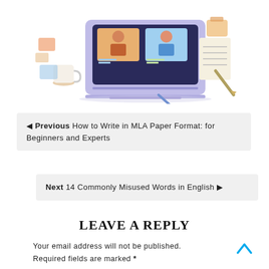[Figure (illustration): Flat-style illustration of a laptop showing a video call with two people, surrounded by office items including a coffee mug, notepad, and pencil.]
◀ Previous How to Write in MLA Paper Format: for Beginners and Experts
Next 14 Commonly Misused Words in English ▶
LEAVE A REPLY
Your email address will not be published.
Required fields are marked *